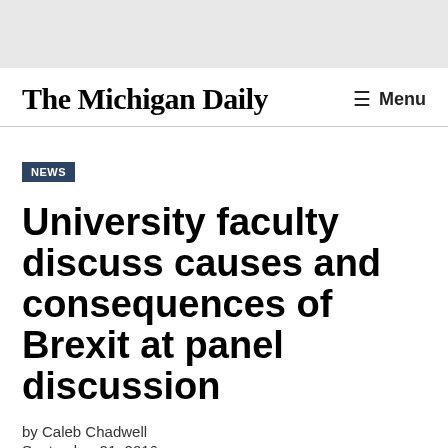The Michigan Daily | Menu
NEWS
University faculty discuss causes and consequences of Brexit at panel discussion
by Caleb Chadwell
September 21, 2016